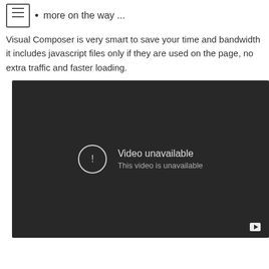more on the way ...
Visual Composer is very smart to save your time and bandwidth it includes javascript files only if they are used on the page, no extra traffic and faster loading.
[Figure (screenshot): Embedded video player showing 'Video unavailable - This video is unavailable' message on a dark background with a YouTube play button in the bottom right corner.]